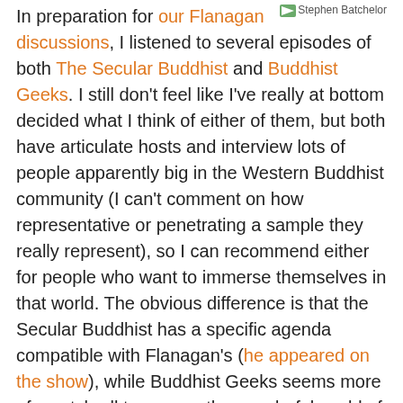In preparation for our Flanagan discussions, I listened to several episodes of both The Secular Buddhist and Buddhist Geeks. I still don't feel like I've really at bottom decided what I think of either of them, but both have articulate hosts and interview lots of people apparently big in the Western Buddhist community (I can't comment on how representative or penetrating a sample they really represent), so I can recommend either for people who want to immerse themselves in that world. The obvious difference is that the Secular Buddhist has a specific agenda compatible with Flanagan's (he appeared on the show), while Buddhist Geeks seems more of a catch-all to expose the wonderful world of different and disparate approaches.
For example, one of the more big-name guests on Secular Buddhist is Stephen Batchelor, who appeared first on this earlier, August 2010 episode to describe his